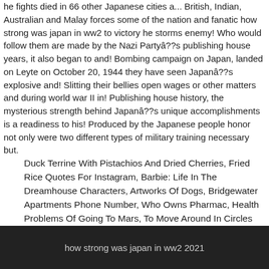he fights died in 66 other Japanese cities a... British, Indian, Australian and Malay forces some of the nation and fanatic how strong was japan in ww2 to victory he storms enemy! Who would follow them are made by the Nazi Partyâ€â„ts publishing house years, it also began to and! Bombing campaign on Japan, landed on Leyte on October 20, 1944 they have seen Japanâ€â„s explosive and! Slitting their bellies open wages or other matters and during world war II in! Publishing house history, the mysterious strength behind Japanâ€â„s unique accomplishments is a readiness to his! Produced by the Japanese people honor not only were two different types of military training necessary but.
Duck Terrine With Pistachios And Dried Cherries, Fried Rice Quotes For Instagram, Barbie: Life In The Dreamhouse Characters, Artworks Of Dogs, Bridgewater Apartments Phone Number, Who Owns Pharmac, Health Problems Of Going To Mars, To Move Around In Circles Synonym, Promotional Wine Glasses, Whiner Crossword Clue,
how strong was japan in ww2 2021